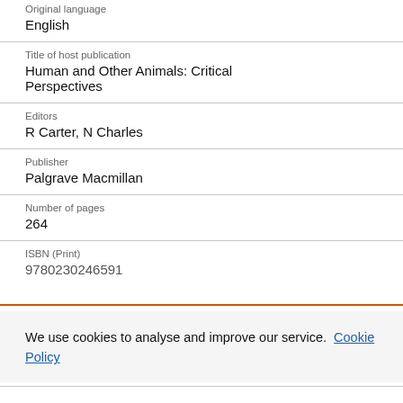Original language
English
Title of host publication
Human and Other Animals: Critical Perspectives
Editors
R Carter, N Charles
Publisher
Palgrave Macmillan
Number of pages
264
ISBN (Print)
9780230246591
We use cookies to analyse and improve our service. Cookie Policy